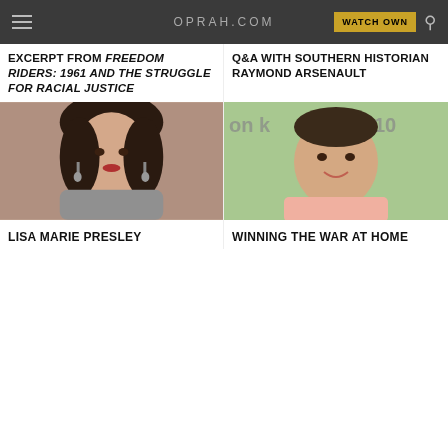OPRAH.COM  WATCH OWN
EXCERPT FROM FREEDOM RIDERS: 1961 AND THE STRUGGLE FOR RACIAL JUSTICE
Q&A WITH SOUTHERN HISTORIAN RAYMOND ARSENAULT
[Figure (photo): Woman with dark hair sitting, wearing gray top with dangling earrings]
[Figure (photo): Man in pink shirt smiling, TV show background visible with text 'on k & 10']
LISA MARIE PRESLEY
WINNING THE WAR AT HOME